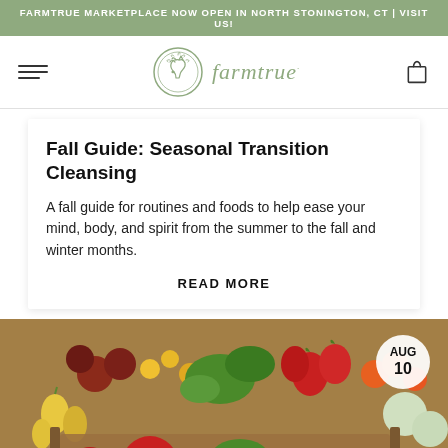FARMTRUE MARKETPLACE NOW OPEN IN NORTH STONINGTON, CT | VISIT US!
[Figure (logo): Farmtrue logo with circular horse emblem and italic text 'farmtrue']
Fall Guide: Seasonal Transition Cleansing
A fall guide for routines and foods to help ease your mind, body, and spirit from the summer to the fall and winter months.
READ MORE
[Figure (photo): A wooden crate filled with colorful fresh vegetables and fruits including tomatoes, strawberries, greens, and yellow pear tomatoes. Date badge shows AUG 10 in top right corner.]